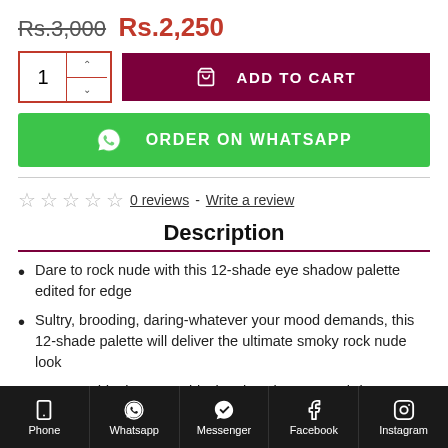Rs.3,000 Rs.2,250
[Figure (screenshot): Add to cart button with quantity selector (value: 1) and dark red ADD TO CART button]
[Figure (screenshot): Green ORDER ON WHATSAPP button with WhatsApp icon]
0 reviews - Write a review
Description
Dare to rock nude with this 12-shade eye shadow palette edited for edge
Sultry, brooding, daring-whatever your mood demands, this 12-shade palette will deliver the ultimate smoky rock nude look
From maddening matte black to knock out navy, bring out
Phone  Whatsapp  Messenger  Facebook  Instagram